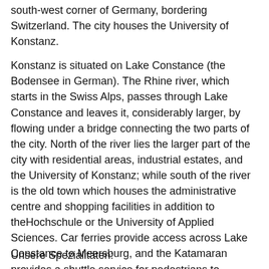south-west corner of Germany, bordering Switzerland. The city houses the University of Konstanz.
Konstanz is situated on Lake Constance (the Bodensee in German). The Rhine river, which starts in the Swiss Alps, passes through Lake Constance and leaves it, considerably larger, by flowing under a bridge connecting the two parts of the city. North of the river lies the larger part of the city with residential areas, industrial estates, and the University of Konstanz; while south of the river is the old town which houses the administrative centre and shopping facilities in addition to theHochschule or the University of Applied Sciences. Car ferries provide access across Lake Constance to Meersburg, and the Katamaran provides a shuttle service for pedestrians to Friedrichshafen. To the south, the old town borders onto the Swiss town of Kreuzlingen.
Unsere Spezialitäten: